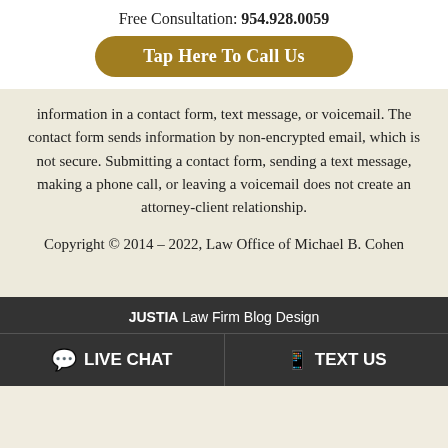Free Consultation: 954.928.0059
Tap Here To Call Us
information in a contact form, text message, or voicemail. The contact form sends information by non-encrypted email, which is not secure. Submitting a contact form, sending a text message, making a phone call, or leaving a voicemail does not create an attorney-client relationship.
Copyright © 2014 – 2022, Law Office of Michael B. Cohen
JUSTIA Law Firm Blog Design
LIVE CHAT
TEXT US